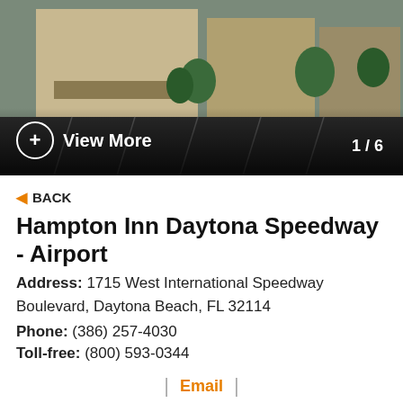[Figure (photo): Exterior photo of Hampton Inn Daytona Speedway Airport hotel with parking lot in foreground, with 'View More' overlay and '1/6' counter]
◄ BACK
Hampton Inn Daytona Speedway - Airport
Address: 1715 West International Speedway Boulevard, Daytona Beach, FL 32114
Phone: (386) 257-4030
Toll-free: (800) 593-0344
Visit Website
| Email |